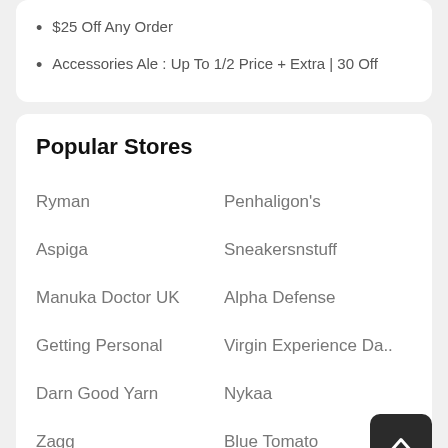$25 Off Any Order
Accessories Ale : Up To 1/2 Price + Extra | 30 Off
Popular Stores
Ryman
Penhaligon's
Aspiga
Sneakersnstuff
Manuka Doctor UK
Alpha Defense
Getting Personal
Virgin Experience Da..
Darn Good Yarn
Nykaa
Zagg
Blue Tomato